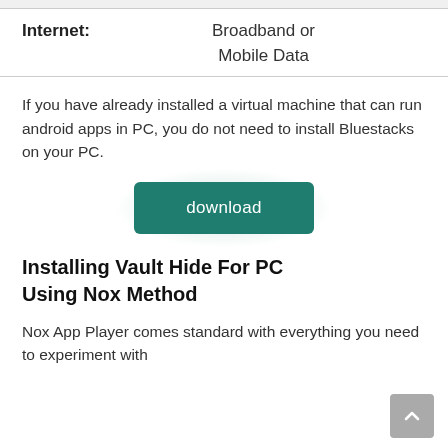| Internet: |  |
| --- | --- |
| Internet: | Broadband or Mobile Data |
If you have already installed a virtual machine that can run android apps in PC, you do not need to install Bluestacks on your PC.
[Figure (other): Green download button with glow effect]
Installing Vault Hide For PC Using Nox Method
Nox App Player comes standard with everything you need to experiment with